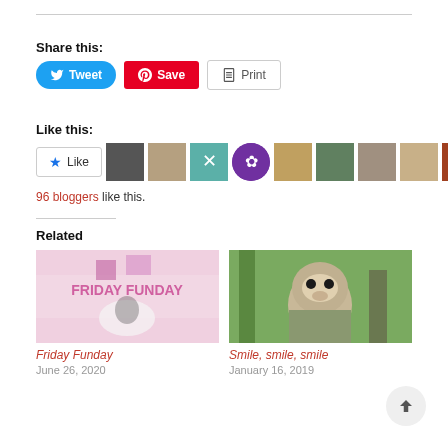Share this:
[Figure (infographic): Social share buttons: Tweet (blue, Twitter bird icon), Save (red, Pinterest icon), Print (white/gray, printer icon)]
Like this:
[Figure (infographic): Like button with star icon and 9 blogger avatar thumbnails]
96 bloggers like this.
Related
[Figure (photo): Friday Funday blog post thumbnail showing coffee cup and pink text overlay]
Friday Funday
June 26, 2020
[Figure (photo): Smile, smile, smile blog post thumbnail showing a squirrel monkey on a branch]
Smile, smile, smile
January 16, 2019